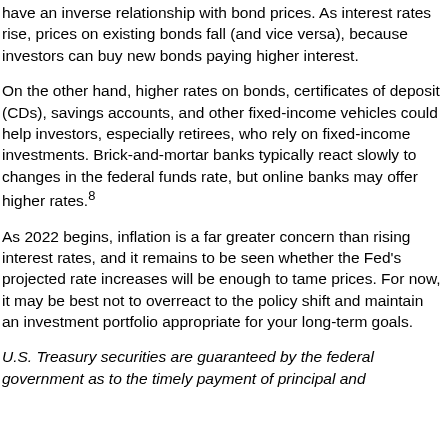have an inverse relationship with bond prices. As interest rates rise, prices on existing bonds fall (and vice versa), because investors can buy new bonds paying higher interest.
On the other hand, higher rates on bonds, certificates of deposit (CDs), savings accounts, and other fixed-income vehicles could help investors, especially retirees, who rely on fixed-income investments. Brick-and-mortar banks typically react slowly to changes in the federal funds rate, but online banks may offer higher rates.8
As 2022 begins, inflation is a far greater concern than rising interest rates, and it remains to be seen whether the Fed's projected rate increases will be enough to tame prices. For now, it may be best not to overreact to the policy shift and maintain an investment portfolio appropriate for your long-term goals.
U.S. Treasury securities are guaranteed by the federal government as to the timely payment of principal and